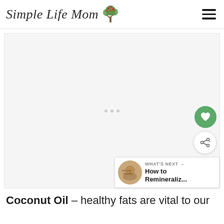Simple Life Mom
[Figure (other): Advertisement placeholder area with loading dots, embedded within a light gray box. Floating action buttons on the right: a green heart button and a white share button. A 'What's Next' banner in the bottom-right corner showing a circular thumbnail and the text 'How to Remineraliz...']
Coconut Oil – healthy fats are vital to our